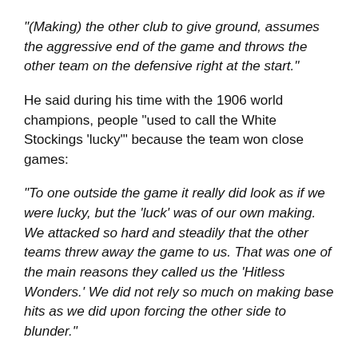“(Making) the other club to give ground, assumes the aggressive end of the game and throws the other team on the defensive right at the start.”
He said during his time with the 1906 world champions, people “used to call the White Stockings ‘lucky’” because the team won close games:
“To one outside the game it really did look as if we were lucky, but the ‘luck’ was of our own making. We attacked so hard and steadily that the other teams threw away the game to us. That was one of the main reasons they called us the ‘Hitless Wonders.’ We did not rely so much on making base hits as we did upon forcing the other side to blunder.”
That, and pitching: